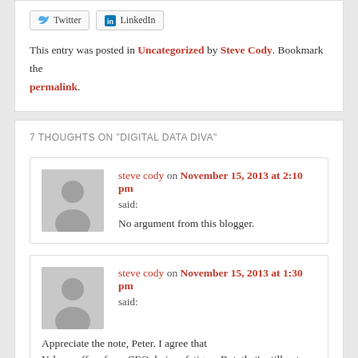This entry was posted in Uncategorized by Steve Cody. Bookmark the permalink.
7 THOUGHTS ON "DIGITAL DATA DIVA"
steve cody on November 15, 2013 at 2:10 pm said: No argument from this blogger.
steve cody on November 15, 2013 at 1:30 pm said: Appreciate the note, Peter. I agree that Yahoo suffers from CEO du jour fatigue. But, that's still not